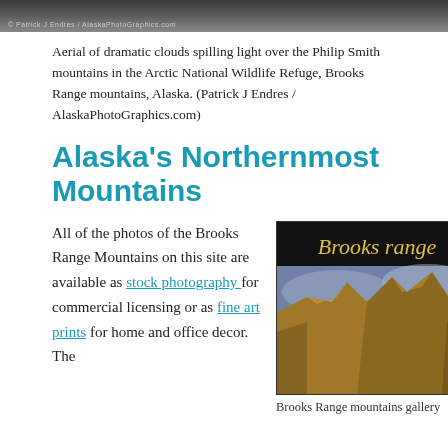[Figure (photo): Aerial photo of dramatic clouds spilling light over mountains, dark stormy sky]
Aerial of dramatic clouds spilling light over the Philip Smith mountains in the Arctic National Wildlife Refuge, Brooks Range mountains, Alaska. (Patrick J Endres / AlaskaPhotoGraphics.com)
Alaska's Northernmost Mountains
All of the photos of the Brooks Range Mountains on this site are available as stock photography for commercial licensing or as fine art prints for home and office decor. The
[Figure (photo): Brooks Range mountains gallery — gold-lit rocky peaks against a blue sky with italic cursive text 'Brooks range' on a dark header band]
Brooks Range mountains gallery